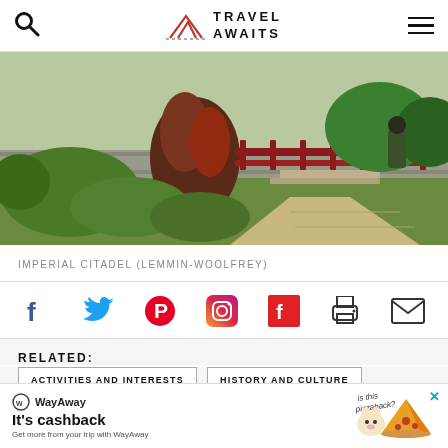Travel Awaits
[Figure (photo): Outdoor garden scene at Imperial Citadel showing tropical plants, red railing fence, stone carved wall, paved walkway and a person in green clothing]
IMPERIAL CITADEL (LEMMIN-WOOLFREY)
[Figure (infographic): Social sharing icons row: Facebook, Twitter, Pinterest, Instagram, Flipboard, Print, Email]
RELATED:
ACTIVITIES AND INTERESTS
HISTORY AND CULTURE
WayAway — It's cashback. Get more from your trip with WayAway